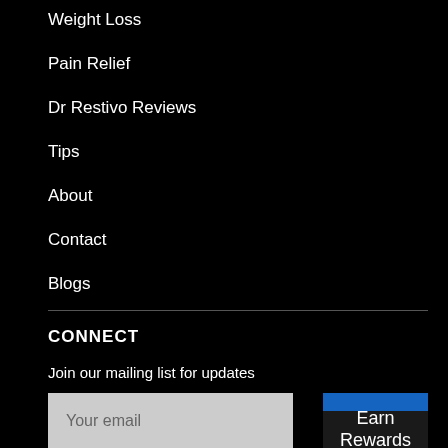Weight Loss
Pain Relief
Dr Restivo Reviews
Tips
About
Contact
Blogs
CONNECT
Join our mailing list for updates
Your email
Earn Rewards